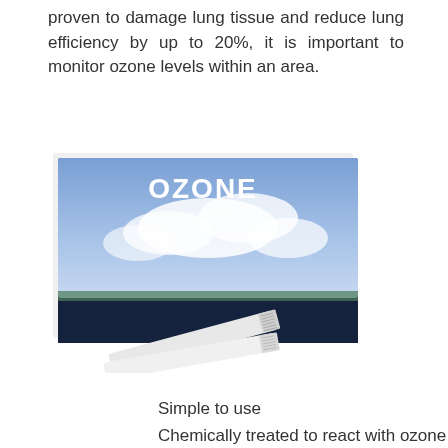proven to damage lung tissue and reduce lung efficiency by up to 20%, it is important to monitor ozone levels within an area.
[Figure (photo): Photo of an OZONE test kit product box with sky/cloud imagery and two white test strips lying in front of the box.]
Simple to use
Chemically treated to react with ozone
Easy to read colour reaction
Simply place in the area to be tested. After 10 minutes the test strip is compared with the colour scale on the test strip package. The strip will produce a result as a colour change in four distinct colours, from light yellow to dark